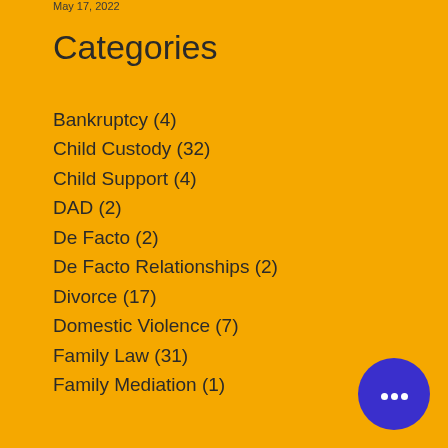May 17, 2022
Categories
Bankruptcy (4)
Child Custody (32)
Child Support (4)
DAD (2)
De Facto (2)
De Facto Relationships (2)
Divorce (17)
Domestic Violence (7)
Family Law (31)
Family Mediation (1)